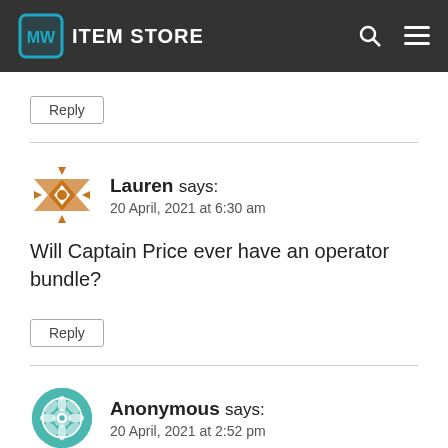ITEM STORE
Reply
Lauren says:
20 April, 2021 at 6:30 am
Will Captain Price ever have an operator bundle?
Reply
Anonymous says:
20 April, 2021 at 2:52 pm